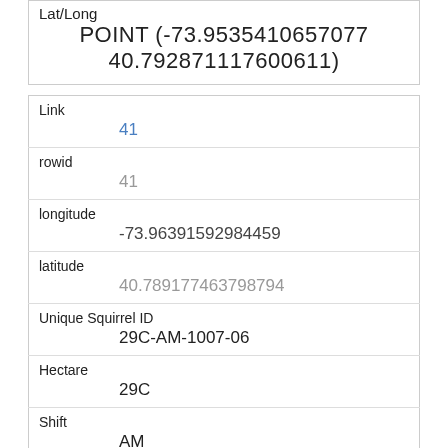| Lat/Long | POINT (-73.9535410657077 40.792871117600611) |
| Link | 41 |
| rowid | 41 |
| longitude | -73.96391592984459 |
| latitude | 40.789177463798794 |
| Unique Squirrel ID | 29C-AM-1007-06 |
| Hectare | 29C |
| Shift | AM |
| Date | 10072018 |
| Hectare Squirrel Number | 6 |